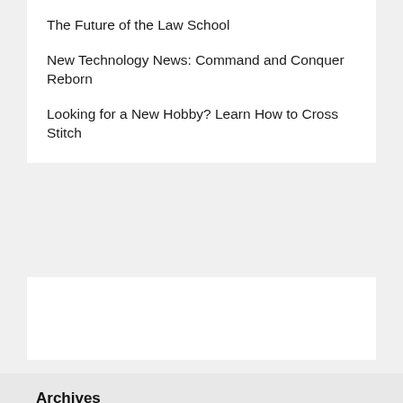The Future of the Law School
New Technology News: Command and Conquer Reborn
Looking for a New Hobby? Learn How to Cross Stitch
Archives
August 2022